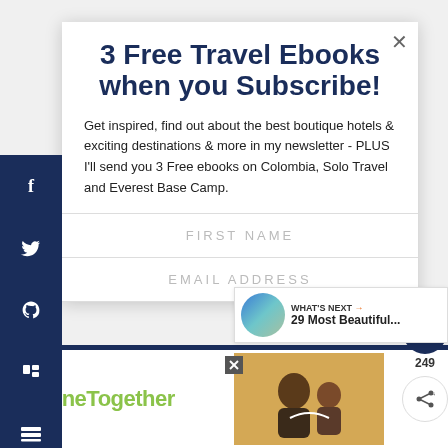3 Free Travel Ebooks when you Subscribe!
Get inspired, find out about the best boutique hotels & exciting destinations & more in my newsletter - PLUS I'll send you 3 Free ebooks on Colombia, Solo Travel and Everest Base Camp.
FIRST NAME
EMAIL ADDRESS
[Figure (screenshot): Social media share sidebar with dark navy background showing Facebook, Twitter, Pinterest, Flipboard, Mix, and email icons]
[Figure (screenshot): Heart/like button showing 249 count and share button widget on right side]
[Figure (screenshot): What's Next widget showing '29 Most Beautiful...' with circular image]
[Figure (screenshot): Bottom advertisement banner with #AloneTogether text in green on white background with photo of people and Mastercard logo]